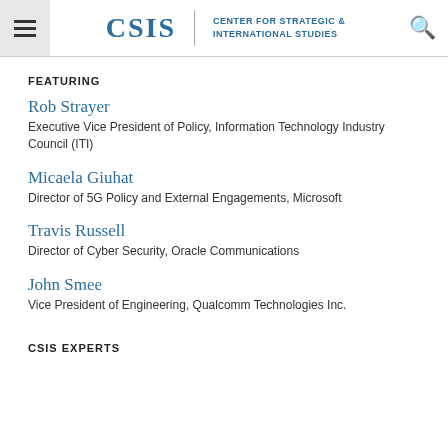CSIS | CENTER FOR STRATEGIC & INTERNATIONAL STUDIES
FEATURING
Rob Strayer
Executive Vice President of Policy, Information Technology Industry Council (ITI)
Micaela Giuhat
Director of 5G Policy and External Engagements, Microsoft
Travis Russell
Director of Cyber Security, Oracle Communications
John Smee
Vice President of Engineering, Qualcomm Technologies Inc.
CSIS EXPERTS